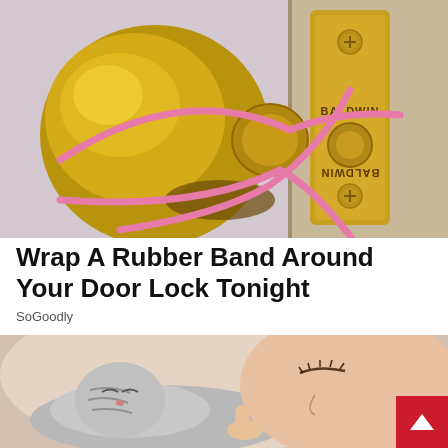[Figure (photo): Close-up photo of a brass door knob and door lock plate (Baldwin brand) with a pink rubber band wrapped around and through the latch mechanism in an X pattern.]
Wrap A Rubber Band Around Your Door Lock Tonight
SoGoodly
[Figure (photo): Close-up photo of a person sleeping with their face next to a fluffy gray cat, both with eyes closed, soft warm lighting.]